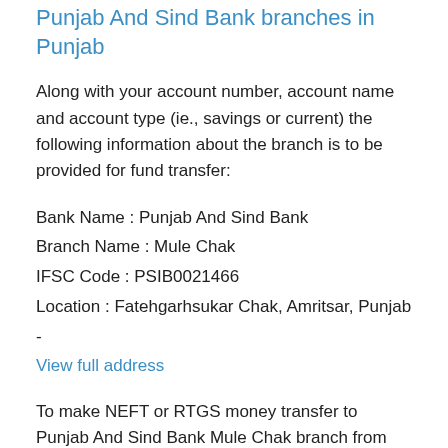Punjab And Sind Bank branches in Punjab
Along with your account number, account name and account type (ie., savings or current) the following information about the branch is to be provided for fund transfer:
Bank Name : Punjab And Sind Bank
Branch Name : Mule Chak
IFSC Code : PSIB0021466
Location : Fatehgarhsukar Chak, Amritsar, Punjab -
View full address
To make NEFT or RTGS money transfer to Punjab And Sind Bank Mule Chak branch from any other bank in India, IFSC code is necessary. For hustle free payment transfer, share the accurate IFSC,